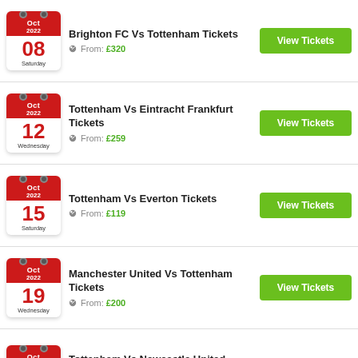Oct 2022, 08, Saturday — Brighton FC Vs Tottenham Tickets — From: £320 — View Tickets
Oct 2022, 12, Wednesday — Tottenham Vs Eintracht Frankfurt Tickets — From: £259 — View Tickets
Oct 2022, 15, Saturday — Tottenham Vs Everton Tickets — From: £119 — View Tickets
Oct 2022, 19, Wednesday — Manchester United Vs Tottenham Tickets — From: £200 — View Tickets
Oct 2022 — Tottenham Vs Newcastle United